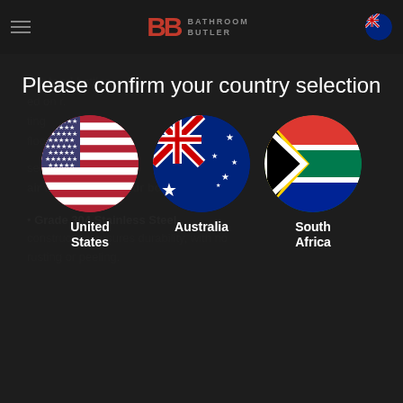BB BATHROOM BUTLER
Please confirm your country selection
[Figure (illustration): Three circular country flag options: United States (US flag), Australia (Australian flag), South Africa (South African flag), with country names below each flag]
all standard bottles. ed on r. ting fall floor.
se allows drainage air flow keeping your bottles dry.
Grade 304 Stainless Steel construction ensures durability, with no rusting or peeling.